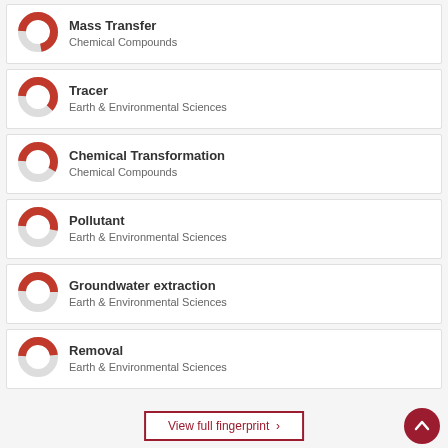Mass Transfer
Chemical Compounds
Tracer
Earth & Environmental Sciences
Chemical Transformation
Chemical Compounds
Pollutant
Earth & Environmental Sciences
Groundwater extraction
Earth & Environmental Sciences
Removal
Earth & Environmental Sciences
View full fingerprint >